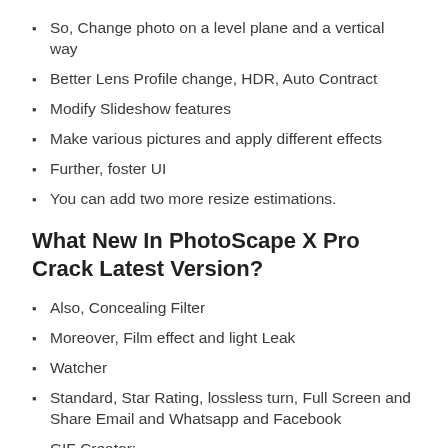So, Change photo on a level plane and a vertical way
Better Lens Profile change, HDR, Auto Contract
Modify Slideshow features
Make various pictures and apply different effects
Further, foster UI
You can add two more resize estimations.
What New In PhotoScape X Pro Crack Latest Version?
Also, Concealing Filter
Moreover, Film effect and light Leak
Watcher
Standard, Star Rating, lossless turn, Full Screen and Share Email and Whatsapp and Facebook
GIF Creator:
So, You can make an animate GIF
Channel and effects: